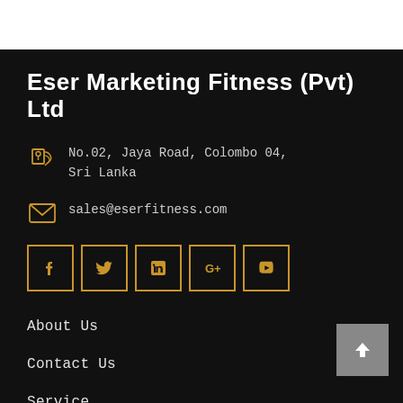Eser Marketing Fitness (Pvt) Ltd
No.02, Jaya Road, Colombo 04, Sri Lanka
sales@eserfitness.com
[Figure (other): Social media icons row: Facebook, Twitter, LinkedIn, Google+, YouTube — each in a gold-bordered square box]
About Us
Contact Us
Service
Branches